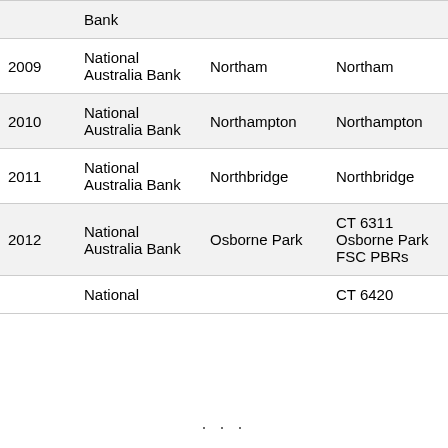| Year | Bank | Branch | Location | BSB |
| --- | --- | --- | --- | --- |
|  | Bank |  |  |  |
| 2009 | National Australia Bank | Northam | Northam | 086-877 |
| 2010 | National Australia Bank | Northampton | Northampton | 086-886 |
| 2011 | National Australia Bank | Northbridge | Northbridge | 086-089 |
| 2012 | National Australia Bank | Osborne Park | CT 6311 Osborne Park FSC PBRs | 086-086 |
|  | National |  | CT 6420 |  |